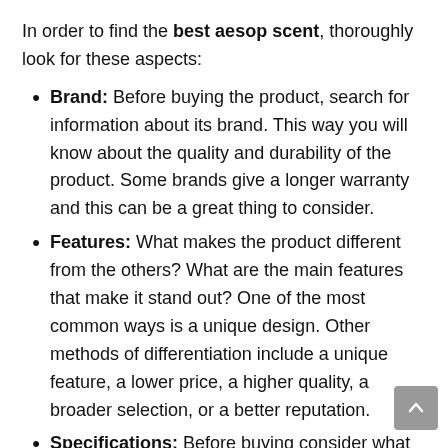In order to find the best aesop scent, thoroughly look for these aspects:
Brand: Before buying the product, search for information about its brand. This way you will know about the quality and durability of the product. Some brands give a longer warranty and this can be a great thing to consider.
Features: What makes the product different from the others? What are the main features that make it stand out? One of the most common ways is a unique design. Other methods of differentiation include a unique feature, a lower price, a higher quality, a broader selection, or a better reputation.
Specifications: Before buying consider what